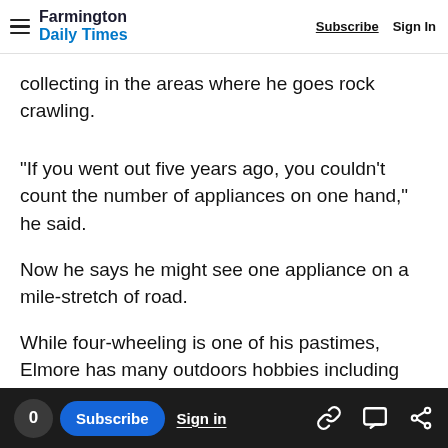Farmington Daily Times | Subscribe | Sign In
collecting in the areas where he goes rock crawling.
"If you went out five years ago, you couldn't count the number of appliances on one hand," he said.
Now he says he might see one appliance on a mile-stretch of road.
While four-wheeling is one of his pastimes, Elmore has many outdoors hobbies including mountain biking, camping, fishing and, occasionally, hunting.
0 Subscribe Sign in [share icons]